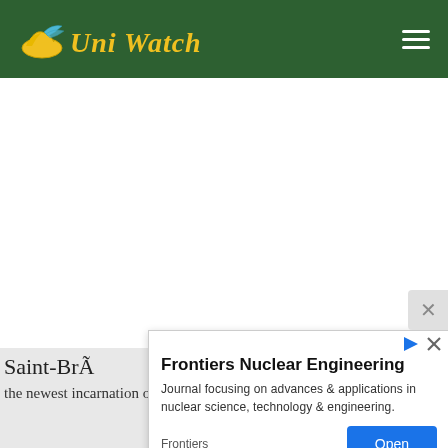Uni Watch
[Figure (other): Large blank white advertisement/content area in the middle of the page]
Saint-BrÃ
the newest incarnation of the team based in Saint-Brevin, les Bi
[Figure (other): Ad overlay: Frontiers Nuclear Engineering — Journal focusing on advances & applications in nuclear science, technology & engineering. Frontiers | Open]